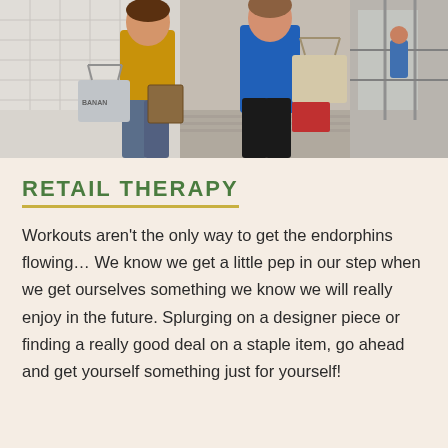[Figure (photo): Two women walking side by side outdoors in a shopping area, carrying multiple shopping bags. One woman wears a mustard/yellow top and carries a Banana Republic bag and a patterned bag, the other wears a blue top and carries a beige shopping bag and a red bag.]
RETAIL THERAPY
Workouts aren't the only way to get the endorphins flowing… We know we get a little pep in our step when we get ourselves something we know we will really enjoy in the future. Splurging on a designer piece or finding a really good deal on a staple item, go ahead and get yourself something just for yourself!